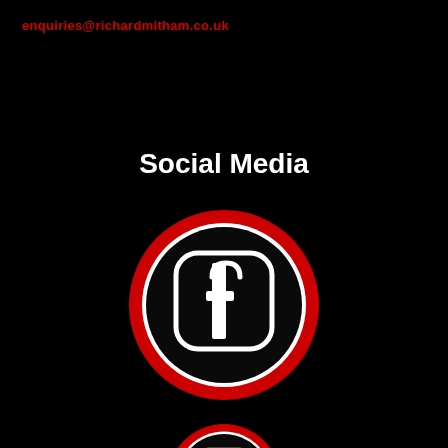enquiries@richardmitham.co.uk
Social Media
[Figure (illustration): Facebook logo icon — rounded square with white 'f' letterform, enclosed in a red circle ring with white inner border, on black background. Below it, partially visible: a Tumblr logo icon similarly styled with red circle ring, on black background.]